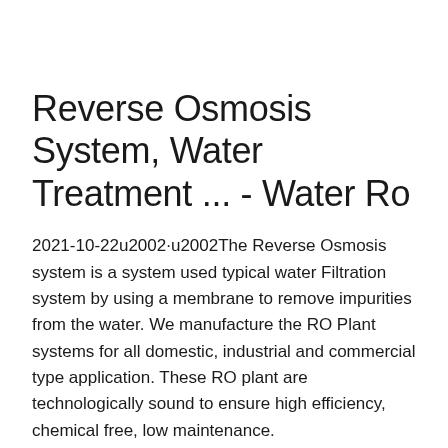Reverse Osmosis System, Water Treatment ... - Water Ro
2021-10-22u2002·u2002The Reverse Osmosis system is a system used typical water Filtration system by using a membrane to remove impurities from the water. We manufacture the RO Plant systems for all domestic, industrial and commercial type application. These RO plant are technologically sound to ensure high efficiency, chemical free, low maintenance.
Get Price